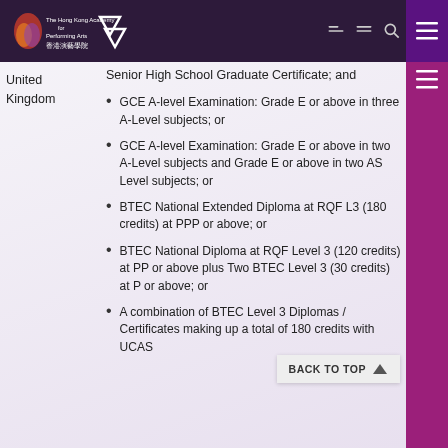The Hong Kong Academy for Performing Arts
United Kingdom
Senior High School Graduate Certificate; and
GCE A-level Examination: Grade E or above in three A-Level subjects; or
GCE A-level Examination: Grade E or above in two A-Level subjects and Grade E or above in two AS Level subjects; or
BTEC National Extended Diploma at RQF L3 (180 credits) at PPP or above; or
BTEC National Diploma at RQF Level 3 (120 credits) at PP or above plus Two BTEC Level 3 (30 credits) at P or above; or
A combination of BTEC Level 3 Diplomas / Certificates making up a total of 180 credits with UCAS